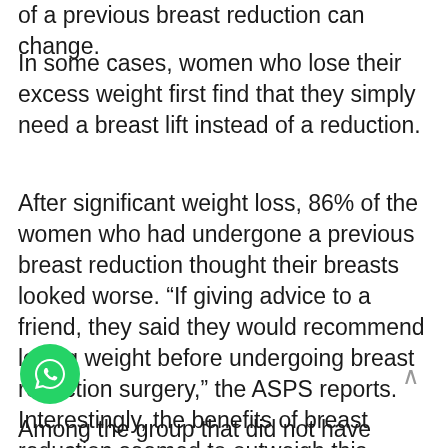of a previous breast reduction can change.
In some cases, women who lose their excess weight first find that they simply need a breast lift instead of a reduction.
After significant weight loss, 86% of the women who had undergone a previous breast reduction thought their breasts looked worse. “If giving advice to a friend, they said they would recommend losing weight before undergoing breast reduction surgery,” the ASPS reports. Interestingly, the benefits of breast reduction seemed to outweigh this cosmetic concern, as most of the patients “did not regret their [decision] to have reduction mammaplasty fi[rst].”
Among the group that did not have breast